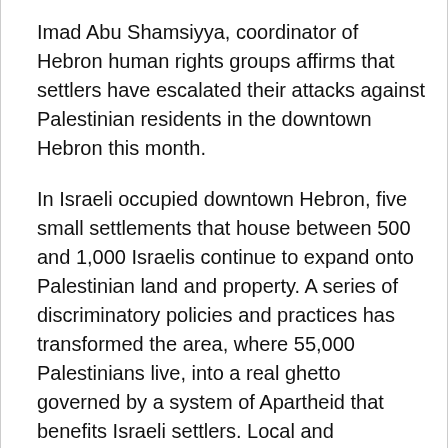Imad Abu Shamsiyya, coordinator of Hebron human rights groups affirms that settlers have escalated their attacks against Palestinian residents in the downtown Hebron this month.
In Israeli occupied downtown Hebron, five small settlements that house between 500 and 1,000 Israelis continue to expand onto Palestinian land and property. A series of discriminatory policies and practices has transformed the area, where 55,000 Palestinians live, into a real ghetto governed by a system of Apartheid that benefits Israeli settlers. Local and grassroots movements, political parties, and activists have struggled to end the racist rule over the city for years.